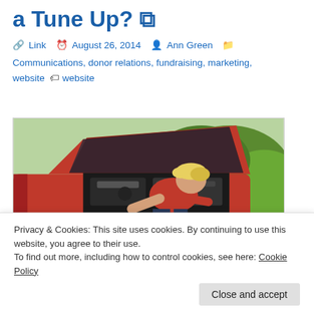a Tune Up?
Link  August 26, 2014  Ann Green  Communications, donor relations, fundraising, marketing, website  website
[Figure (photo): A blonde woman in a red t-shirt leaning over the open hood of a red car, working on the engine.]
Privacy & Cookies: This site uses cookies. By continuing to use this website, you agree to their use.
To find out more, including how to control cookies, see here: Cookie Policy
Close and accept